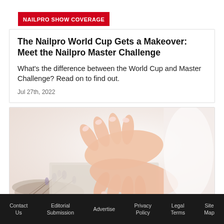NAILPRO SHOW COVERAGE
The Nailpro World Cup Gets a Makeover: Meet the Nailpro Master Challenge
What's the difference between the World Cup and Master Challenge? Read on to find out.
Jul 27th, 2022
[Figure (photo): Two women's hands with manicured nails resting near dried lavender flowers on a light background]
Contact Us  Editorial Submission  Advertise  Privacy Policy  Legal Terms  Site Map